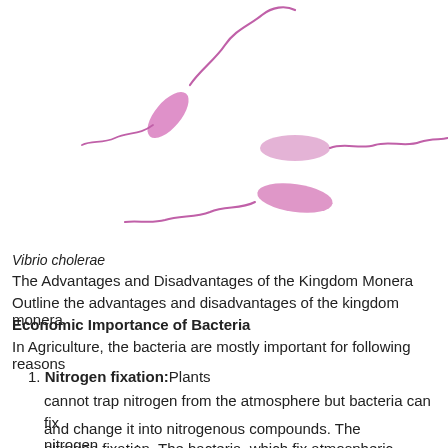[Figure (illustration): Illustration of Vibrio cholerae bacteria — three comma-shaped pink/purple bacterial cells with long thin flagella, drawn in a simple scientific illustration style on white background]
Vibrio cholerae
The Advantages and Disadvantages of the Kingdom Monera
Outline the advantages and disadvantages of the kingdom monera
Economic Importance of Bacteria
In Agriculture, the bacteria are mostly important for following reasons
Nitrogen fixation: Plants cannot trap nitrogen from the atmosphere but bacteria can fix nitrogen and change it into nitrogenous compounds. The phenomenon is called nitrogen fixation. The bacteria, which fix atmospheric nitrogen
nitrogen fixation. The bacteria, which fix atmospheric nitrogen